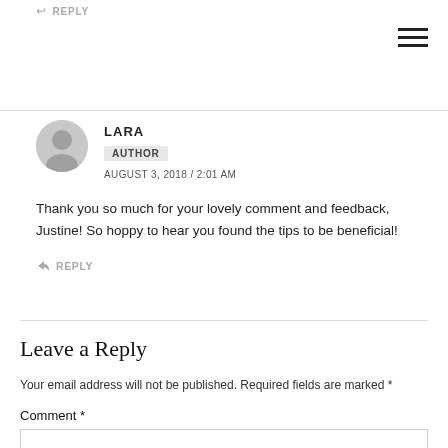↩ REPLY
LARA
AUTHOR
AUGUST 3, 2018 / 2:01 AM
Thank you so much for your lovely comment and feedback, Justine! So hoppy to hear you found the tips to be beneficial!
↩ REPLY
Leave a Reply
Your email address will not be published. Required fields are marked *
Comment *